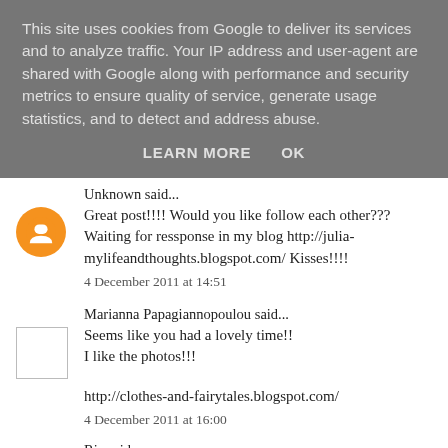This site uses cookies from Google to deliver its services and to analyze traffic. Your IP address and user-agent are shared with Google along with performance and security metrics to ensure quality of service, generate usage statistics, and to detect and address abuse.
LEARN MORE    OK
Unknown said...
Great post!!!! Would you like follow each other??? Waiting for ressponse in my blog http://julia-mylifeandthoughts.blogspot.com/ Kisses!!!!
4 December 2011 at 14:51
Marianna Papagiannopoulou said...
Seems like you had a lovely time!!
I like the photos!!!
http://clothes-and-fairytales.blogspot.com/
4 December 2011 at 16:00
Ria said...